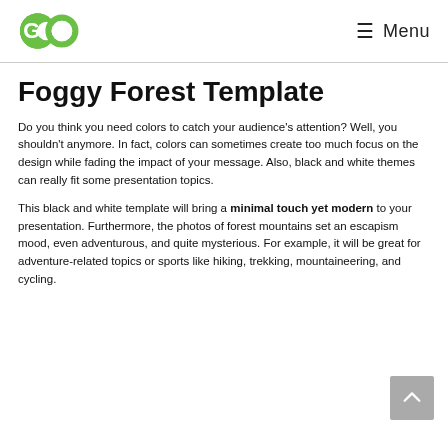GO  Menu
Foggy Forest Template
Do you think you need colors to catch your audience's attention? Well, you shouldn't anymore. In fact, colors can sometimes create too much focus on the design while fading the impact of your message. Also, black and white themes can really fit some presentation topics.
This black and white template will bring a minimal touch yet modern to your presentation. Furthermore, the photos of forest mountains set an escapism mood, even adventurous, and quite mysterious. For example, it will be great for adventure-related topics or sports like hiking, trekking, mountaineering, and cycling.